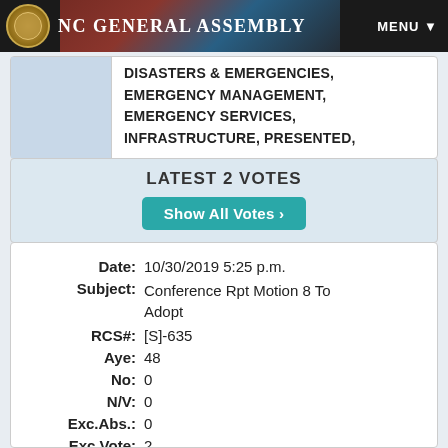NC General Assembly
DISASTERS & EMERGENCIES, EMERGENCY MANAGEMENT, EMERGENCY SERVICES, INFRASTRUCTURE, PRESENTED,
LATEST 2 VOTES
| Field | Value |
| --- | --- |
| Date: | 10/30/2019 5:25 p.m. |
| Subject: | Conference Rpt Motion 8 To Adopt |
| RCS#: | [S]-635 |
| Aye: | 48 |
| No: | 0 |
| N/V: | 0 |
| Exc.Abs.: | 0 |
| Exc.Vote: | 2 |
| Total: | 48 |
| Result: | PASS |